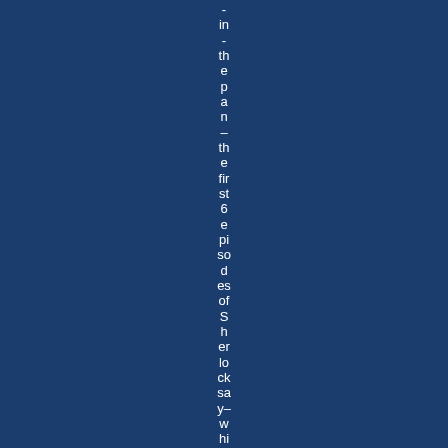- in - the pan – the first 6 episodes of Sherlock say– which